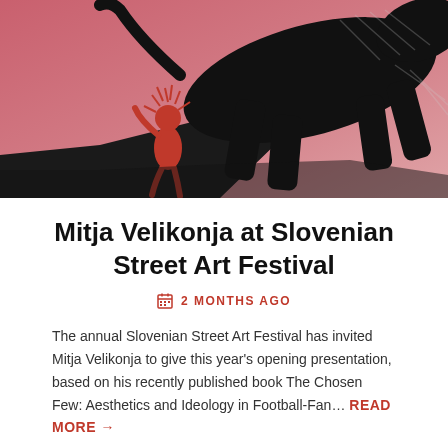[Figure (illustration): Artistic illustration with a pink/salmon background showing a dark silhouette of a large cat or panther-like creature looming over a red figure of a person below, rendered in a graphic art style with hatching and bold shapes.]
Mitja Velikonja at Slovenian Street Art Festival
2 MONTHS AGO
The annual Slovenian Street Art Festival has invited Mitja Velikonja to give this year's opening presentation, based on his recently published book The Chosen Few: Aesthetics and Ideology in Football-Fan… READ MORE →